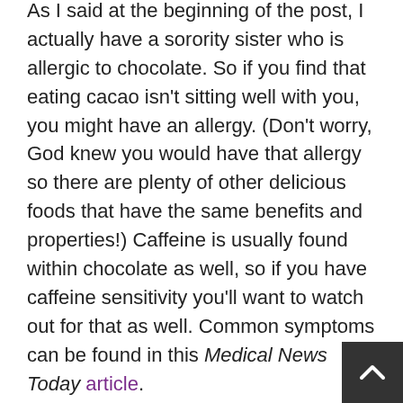As I said at the beginning of the post, I actually have a sorority sister who is allergic to chocolate. So if you find that eating cacao isn't sitting well with you, you might have an allergy. (Don't worry, God knew you would have that allergy so there are plenty of other delicious foods that have the same benefits and properties!) Caffeine is usually found within chocolate as well, so if you have caffeine sensitivity you'll want to watch out for that as well. Common symptoms can be found in this Medical News Today article.
The History of Cacao
I had fun checking out the history of cacao. Here are a few articles if you're interested:
Dorothy K.Washburn, William